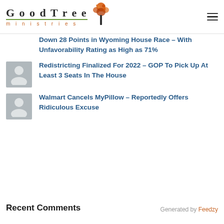GoodTree ministries
Down 28 Points in Wyoming House Race – With Unfavorability Rating as High as 71%
[Figure (illustration): Gray avatar placeholder icon]
Redistricting Finalized For 2022 – GOP To Pick Up At Least 3 Seats In The House
[Figure (illustration): Gray avatar placeholder icon]
Walmart Cancels MyPillow – Reportedly Offers Ridiculous Excuse
Recent Comments
Generated by Feedzy